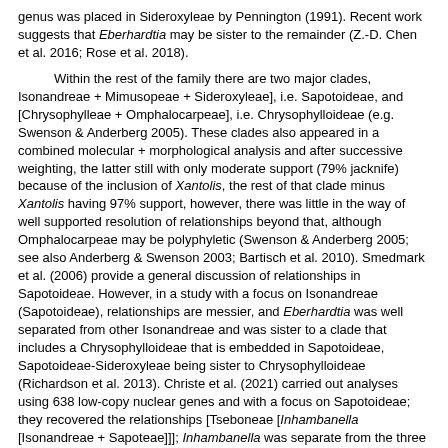genus was placed in Sideroxyleae by Pennington (1991). Recent work suggests that Eberhardtia may be sister to the remainder (Z.-D. Chen et al. 2016; Rose et al. 2018).
Within the rest of the family there are two major clades, Isonandreae + Mimusopeae + Sideroxyleae], i.e. Sapotoideae, and [Chrysophylleae + Omphalocarpeae], i.e. Chrysophylloideae (e.g. Swenson & Anderberg 2005). These clades also appeared in a combined molecular + morphological analysis and after successive weighting, the latter still with only moderate support (79% jacknife) because of the inclusion of Xantolis, the rest of that clade minus Xantolis having 97% support, however, there was little in the way of well supported resolution of relationships beyond that, although Omphalocarpeae may be polyphyletic (Swenson & Anderberg 2005; see also Anderberg & Swenson 2003; Bartisch et al. 2010). Smedmark et al. (2006) provide a general discussion of relationships in Sapotoideae. However, in a study with a focus on Isonandreae (Sapotoideae), relationships are messier, and Eberhardtia was well separated from other Isonandreae and was sister to a clade that includes a Chrysophylloideae that is embedded in Sapotoideae, Sapotoideae-Sideroxyleae being sister to Chrysophylloideae (Richardson et al. 2013). Christe et al. (2021) carried out analyses using 638 low-copy nuclear genes and with a focus on Sapotoideae; they recovered the relationships [Tseboneae [Inhambanella [Isonandreae + Sapoteae]]]; Inhambanella was separate from the three other genera of Gluemineae included - if these relationships hold up, two more tribes will be needed. In Boluda et al. (2022) relationships in the same area are [Isonandreae [Tseboneae [Inhambanella + Sapoteae]]].
Sapotoideae. For relationships in Sideroxylon, see Stride et al. (2014). Within Tseboneae Boluda et al. (2022) found that analysis of 638 nuclear genes in Sapotoideae found the sister of ca 80...